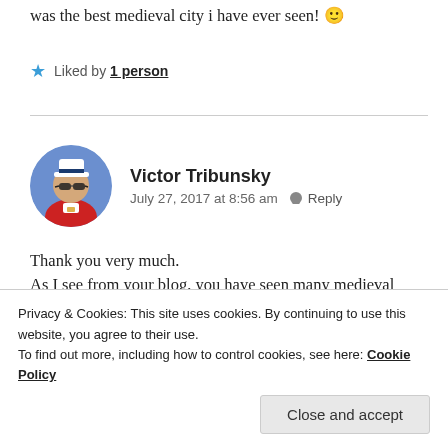was the best medieval city i have ever seen! 🙂
★ Liked by 1 person
Victor Tribunsky
July 27, 2017 at 8:56 am  Reply
Thank you very much.
As I see from your blog, you have seen many medieval cities. However, Dubrovnik is not the most interesting
Privacy & Cookies: This site uses cookies. By continuing to use this website, you agree to their use.
To find out more, including how to control cookies, see here: Cookie Policy
Close and accept